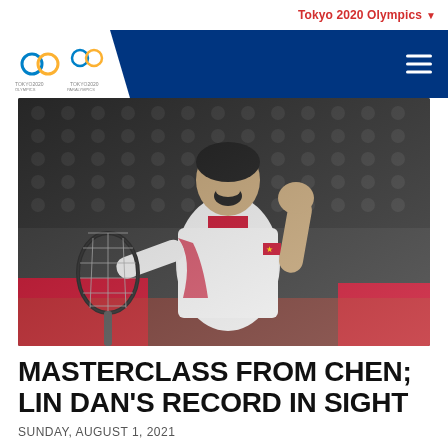Tokyo 2020 Olympics
[Figure (photo): Male badminton player in Chinese national team uniform celebrating with fist raised and mouth open, holding a badminton racket, with red tournament barriers and stadium seats in the background.]
MASTERCLASS FROM CHEN; LIN DAN'S RECORD IN SIGHT
SUNDAY, AUGUST 1, 2021